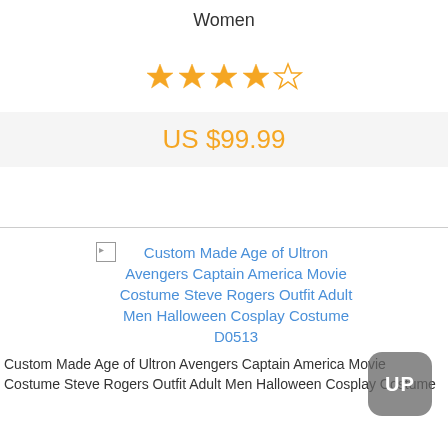Women
[Figure (other): 4.5 out of 5 stars rating displayed as orange star icons]
US $99.99
[Figure (other): Broken image placeholder for product photo: Custom Made Age of Ultron Avengers Captain America Movie Costume Steve Rogers Outfit Adult Men Halloween Cosplay Costume D0513]
Custom Made Age of Ultron Avengers Captain America Movie Costume Steve Rogers Outfit Adult Men Halloween Cosplay Costume
[Figure (other): UP button overlay in grey rounded rectangle]